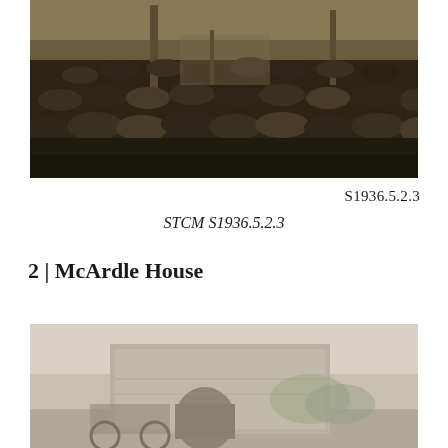[Figure (photo): Black and white photograph of a large crowd of men wearing hats, gathered outdoors, viewed from behind, with a speaker or official visible at the front near a podium or structure.]
S1936.5.2.3
STCM S1936.5.2.3
2 | McArdle House
[Figure (photo): Black and white photograph showing a building exterior, partially visible, with what appears to be a horse-drawn vehicle or cart in the foreground.]